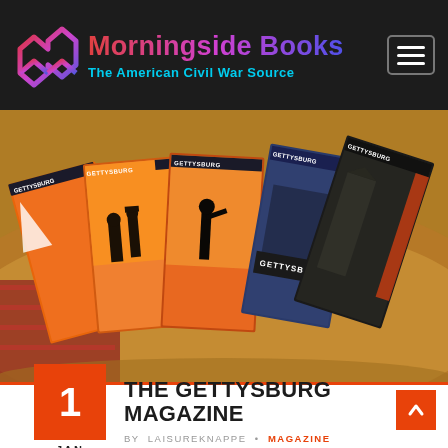Morningside Books – The American Civil War Source
[Figure (photo): Multiple issues of Gettysburg Magazine fanned out on a wooden table surface, showing various covers with Civil War imagery including soldier silhouettes against orange sunset skies and blue-toned covers.]
THE GETTYSBURG MAGAZINE
1 JAN
BY LAISUREKNAPPE • MAGAZINE